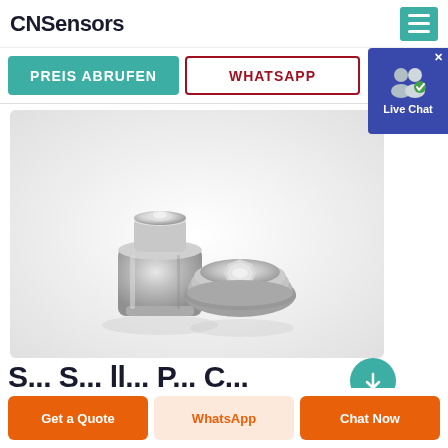CNSensors
PREIS ABRUFEN
WHATSAPP
[Figure (photo): Two small cylindrical metallic sensor components (nickel-plated), one viewed from the side and one from the top, against a light background.]
S... S... ll... P... C... l...
Get a Quote | WhatsApp | Chat Now